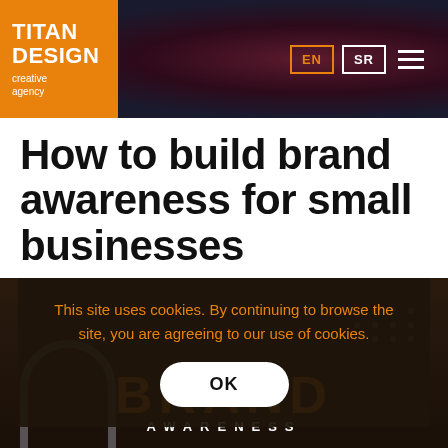[Figure (logo): Titan Design creative agency logo — orange square with white bold text TITAN DESIGN and subtitle 'creative agency', set against a dark reddish-brown banner header with EN/SR language buttons and hamburger menu on the right]
How to build brand awareness for small businesses
This site uses cookies. By continuing to browse the site, you are agreeing to our use of cookies.
OK
[Figure (photo): Dark background image showing the text BRAND AWARENESS in orange and white letters, with decorative arch shapes and dot patterns, partially obscured by cookie consent overlay]